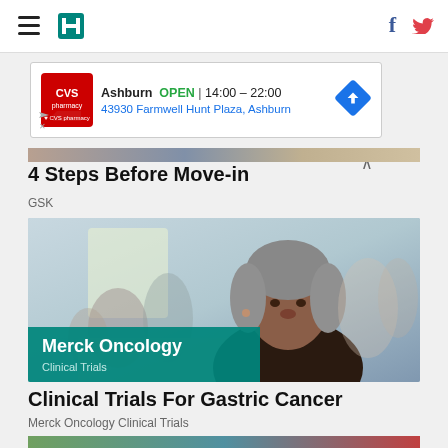HuffPost navigation bar with hamburger menu, logo, Facebook and Twitter icons
[Figure (screenshot): CVS Pharmacy advertisement banner: Ashburn OPEN 14:00-22:00, 43930 Farmwell Hunt Plaza, Ashburn, with CVS logo and navigation arrow icon]
[Figure (photo): Partial top image strip showing an outdoor/indoor scene - GSK advertisement]
4 Steps Before Move-in
GSK
[Figure (photo): Merck Oncology Clinical Trials promotional photo: a middle-aged Black woman with gray hair in dark clothing, with a blurred group of people in a bright room behind her. A teal/green banner overlays the bottom-left reading 'Merck Oncology Clinical Trials'.]
Clinical Trials For Gastric Cancer
Merck Oncology Clinical Trials
[Figure (photo): Partial bottom image strip]